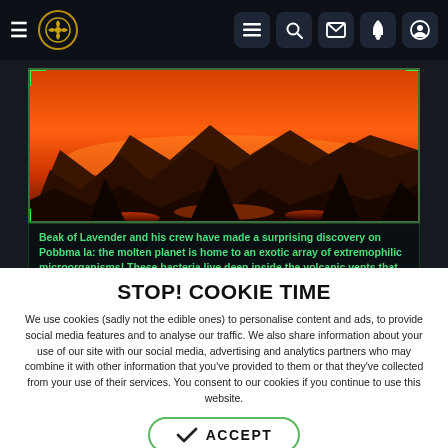Navigation bar with hamburger menu, logo, and icons for list, search, mail, notification, and profile
[Figure (screenshot): Game screenshot showing a volcanic alien landscape (Pobbma Ia) with red/orange sky, dark rocky mountains, and lava, framed in a green-bordered panel on a dark background]
Beak of Lavender and his crew have made a surprising discovery on Pobbma Ia: the molten planet is home to an exotic array of extremophilic microorganisms! These bacteria live deep inside the volcanic vents that scar the planet, thriving in the extremely high temperatures produced there.
STOP! COOKIE TIME
We use cookies (sadly not the edible ones) to personalise content and ads, to provide social media features and to analyse our traffic. We also share information about your use of our site with our social media, advertising and analytics partners who may combine it with other information that you've provided to them or that they've collected from your use of their services. You consent to our cookies if you continue to use this website.
ACCEPT